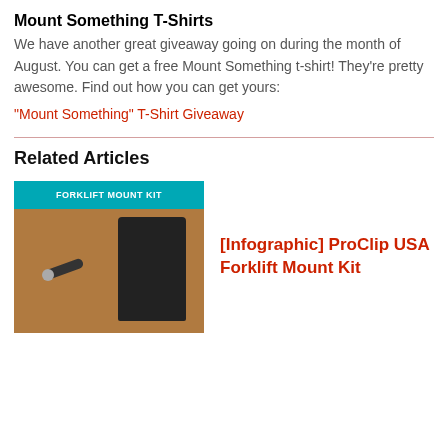Mount Something T-Shirts
We have another great giveaway going on during the month of August. You can get a free Mount Something t-shirt! They're pretty awesome. Find out how you can get yours:
"Mount Something" T-Shirt Giveaway
Related Articles
[Figure (photo): Image of a forklift mount kit showing a device mounted on a bracket, with a teal banner at the top reading 'FORKLIFT MOUNT KIT']
[Infographic] ProClip USA Forklift Mount Kit